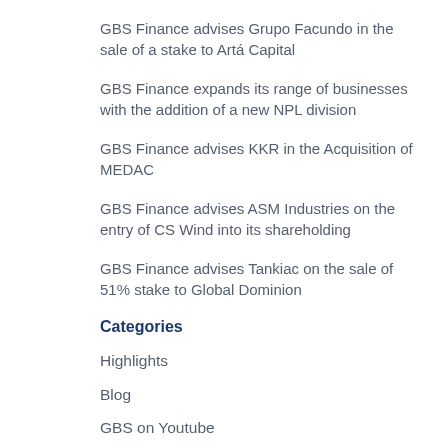GBS Finance advises Grupo Facundo in the sale of a stake to Artá Capital
GBS Finance expands its range of businesses with the addition of a new NPL division
GBS Finance advises KKR in the Acquisition of MEDAC
GBS Finance advises ASM Industries on the entry of CS Wind into its shareholding
GBS Finance advises Tankiac on the sale of 51% stake to Global Dominion
Categories
Highlights
Blog
GBS on Youtube
Interview